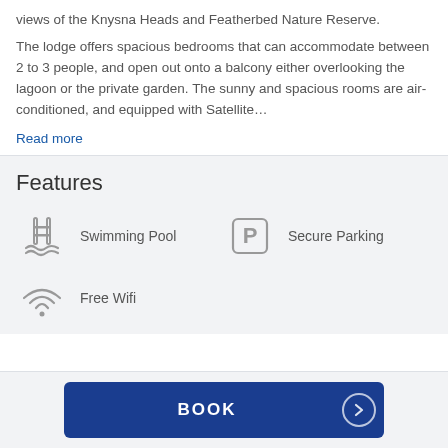views of the Knysna Heads and Featherbed Nature Reserve.
The lodge offers spacious bedrooms that can accommodate between 2 to 3 people, and open out onto a balcony either overlooking the lagoon or the private garden. The sunny and spacious rooms are air-conditioned, and equipped with Satellite…
Read more
Features
[Figure (infographic): Swimming pool icon with waves]
Swimming Pool
[Figure (infographic): Parking P icon in a rounded square]
Secure Parking
[Figure (infographic): WiFi signal icon]
Free Wifi
BOOK